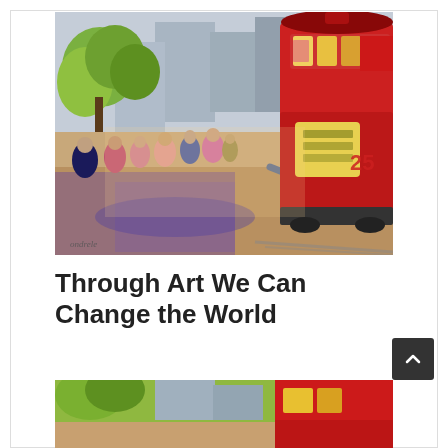[Figure (illustration): Impressionist oil painting depicting a busy city street scene with a red cable car on the right, a man leaning forward pushing, a crowd of colorful figures, and green trees in the background under bright sunlight.]
Through Art We Can Change the World
[Figure (illustration): Partial view of the same or similar impressionist painting showing the cable car and crowd scene, cropped at the bottom of the page.]